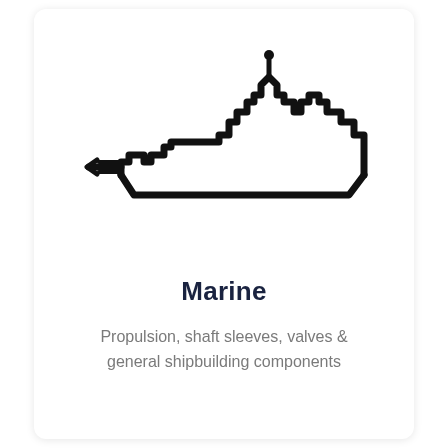[Figure (illustration): Line art silhouette of a naval/military ship facing left, drawn with thick black outlines on white background. The ship has a stepped superstructure with radar/antenna towers, a cannon/gun mount at the bow, and a pointed stern.]
Marine
Propulsion, shaft sleeves, valves & general shipbuilding components